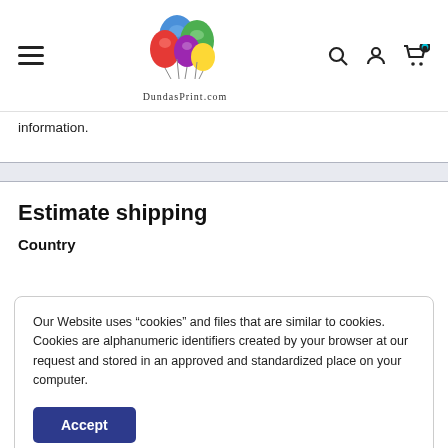[Figure (logo): DundasPrint.com logo with colorful balloons above the text]
information.
Estimate shipping
Country
Our Website uses “cookies” and files that are similar to cookies. Cookies are alphanumeric identifiers created by your browser at our request and stored in an approved and standardized place on your computer.
Accept
Zip code